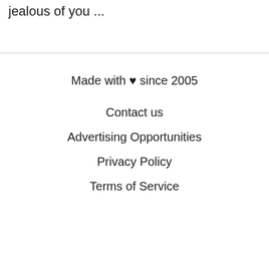jealous of you ...
Made with ♥ since 2005
Contact us
Advertising Opportunities
Privacy Policy
Terms of Service